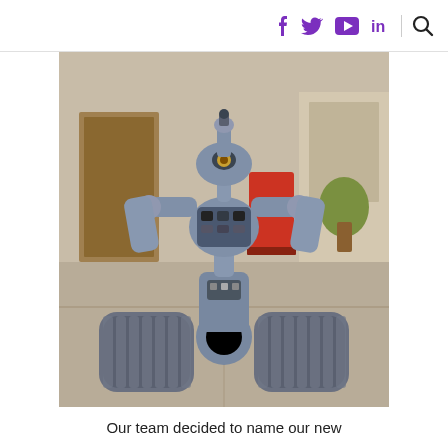f  y  ▶  in  🔍
[Figure (photo): A large tracked robot (resembling the robot from the movie Short Circuit / Johnny 5) photographed outdoors on a concrete surface. The robot has two tank-like treads at the base, a cylindrical mid-section, articulated arms, and a camera-equipped head. The background shows a building entrance with a red cart and some plants.]
Our team decided to name our new